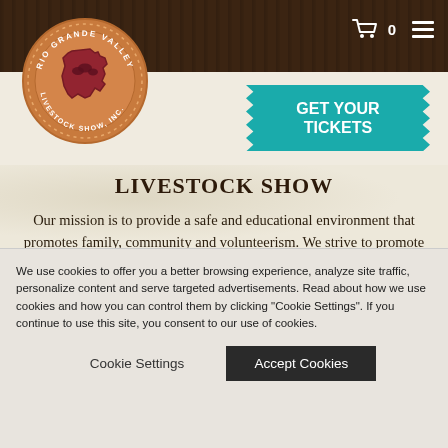[Figure (logo): Rio Grande Valley Livestock Show Inc. circular logo with Texas state outline and cattle, orange/tan color scheme]
[Figure (infographic): Shopping cart icon with 0 count and hamburger menu icon in white on dark wood header]
[Figure (infographic): GET YOUR TICKETS teal/cyan ticket-shaped button]
LIVESTOCK SHOW
Our mission is to provide a safe and educational environment that promotes family, community and volunteerism. We strive to promote the youth of South Texas through leadership development, agricultural education, and competition with a goal of creating the
We use cookies to offer you a better browsing experience, analyze site traffic, personalize content and serve targeted advertisements. Read about how we use cookies and how you can control them by clicking "Cookie Settings". If you continue to use this site, you consent to our use of cookies.
Cookie Settings
Accept Cookies